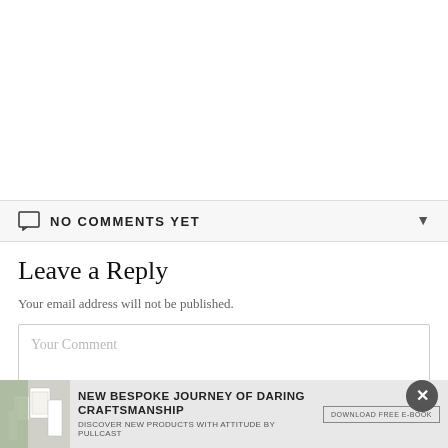NO COMMENTS YET
Leave a Reply
Your email address will not be published.
Your Comment
[Figure (infographic): Ad banner: NEW BESPOKE JOURNEY OF DARING CRAFTSMANSHIP — DISCOVER NEW PRODUCTS WITH ATTITUDE BY PULLCAST. Download free e-book button. Product images on left. Close (X) button.]